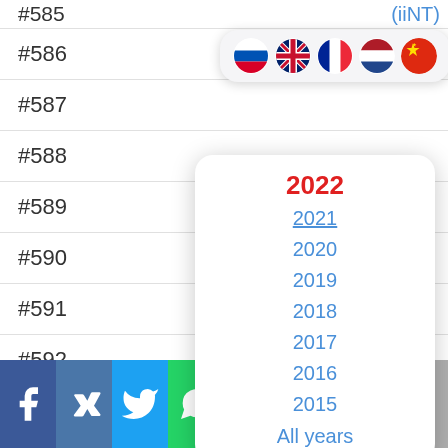#585
#586
#587
#588
#589
#590
#591
#592 |DSM|
#593 |[i]|
[Figure (screenshot): Language selector with 5 flag icons: Russian, British, French, Dutch, Chinese]
[Figure (screenshot): Year dropdown: 2022 (red, selected), 2021 (underlined), 2020, 2019, 2018, 2017, 2016, 2015, All years]
[Figure (screenshot): Social share bar with Facebook, VK, Twitter, WhatsApp, Odnoklassniki, Viber, scroll-up, more buttons]